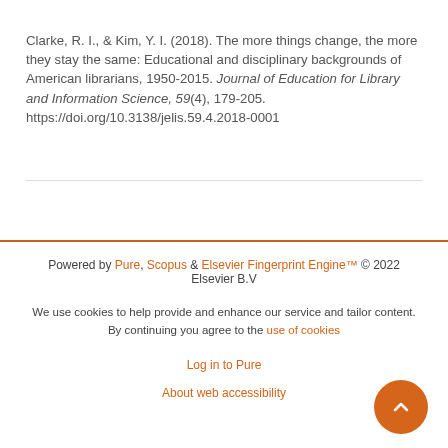Clarke, R. I., & Kim, Y. I. (2018). The more things change, the more they stay the same: Educational and disciplinary backgrounds of American librarians, 1950-2015. Journal of Education for Library and Information Science, 59(4), 179-205. https://doi.org/10.3138/jelis.59.4.2018-0001
Powered by Pure, Scopus & Elsevier Fingerprint Engine™ © 2022 Elsevier B.V

We use cookies to help provide and enhance our service and tailor content. By continuing you agree to the use of cookies

Log in to Pure

About web accessibility